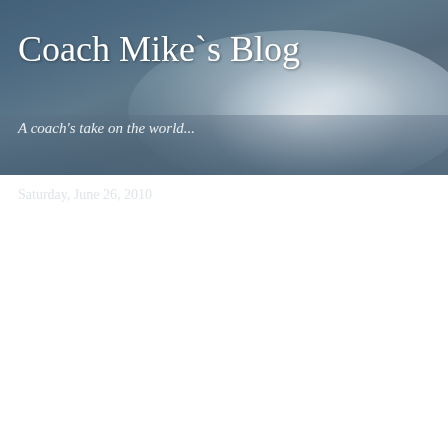[Figure (photo): Blog header banner with dark blue-grey stormy water/wave background with white foam and clouds]
Coach Mike`s Blog
A coach's take on the world...
Saturday, June 26, 2010
The Culmination of Preparation
In May I was notified of the 1st annual Stratten and Bond meet being held @ McMaster University by the Greater Horseshoe Aquatic Club. It is a meet for those not going to provincials, yet over qualified for central region team champs (and in our case, the 15 and overs that were too old for Halton Cup). I really wanted to use this meet as a good way for those athletes to end the season and for those who don't usually qualify for finals to end their season with that opportunity. HHBF faired quite well at Stratten and Bond this weekend. I think every individual over the age of 13 qualified for a final. Amongst those who were able to make it back for